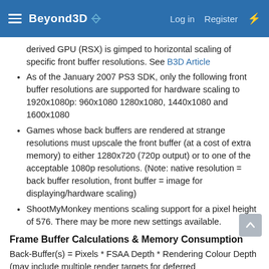Beyond3D | Log in | Register
derived GPU (RSX) is gimped to horizontal scaling of specific front buffer resolutions. See B3D Article
As of the January 2007 PS3 SDK, only the following front buffer resolutions are supported for hardware scaling to 1920x1080p: 960x1080 1280x1080, 1440x1080 and 1600x1080
Games whose back buffers are rendered at strange resolutions must upscale the front buffer (at a cost of extra memory) to either 1280x720 (720p output) or to one of the acceptable 1080p resolutions. (Note: native resolution = back buffer resolution, front buffer = image for displaying/hardware scaling)
ShootMyMonkey mentions scaling support for a pixel height of 576. There may be more new settings available.
Frame Buffer Calculations & Memory Consumption
Back-Buffer(s) = Pixels * FSAA Depth * Rendering Colour Depth (may include multiple render targets for deferred